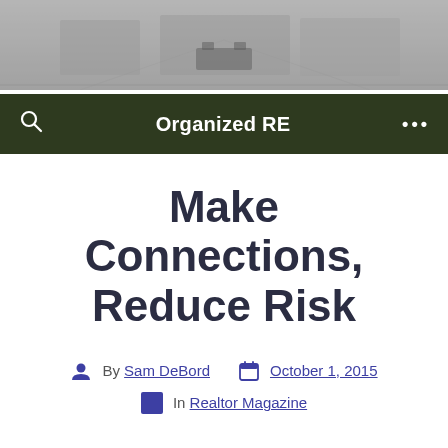[Figure (photo): Grayscale hero image of an interior hallway or corridor with chairs and tables visible in the distance, blurred/light treatment]
Organized RE
Make Connections, Reduce Risk
By Sam DeBord  October 1, 2015
In Realtor Magazine
This article was originally published in REALTOR Magazine.